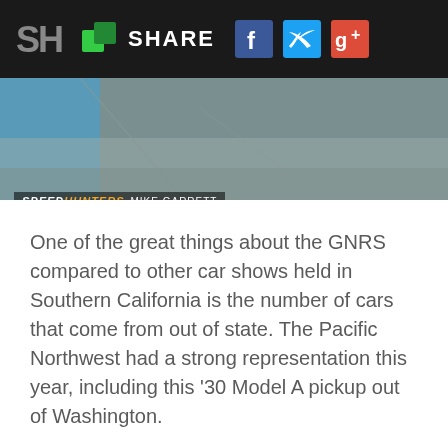SH SHARE
[Figure (photo): Top portion of a car photo showing pavement/concrete surface with blue car element visible, with Speedhunters Mike Garrett watermark overlay]
One of the great things about the GNRS compared to other car shows held in Southern California is the number of cars that come from out of state. The Pacific Northwest had a strong representation this year, including this '30 Model A pickup out of Washington.
CHAPTER TWO
Beautiful Roadsters & More
[Figure (photo): Bottom strip of a car show photo showing cars in a dark indoor venue]